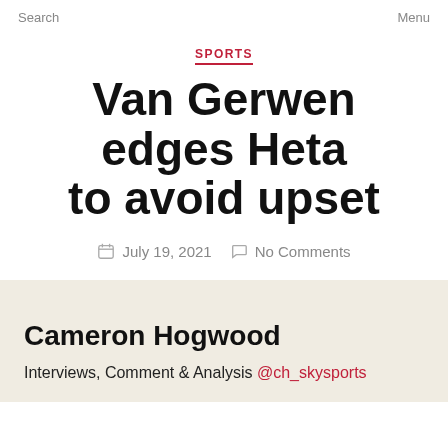Search    Menu
SPORTS
Van Gerwen edges Heta to avoid upset
July 19, 2021    No Comments
Cameron Hogwood
Interviews, Comment & Analysis @ch_skysports